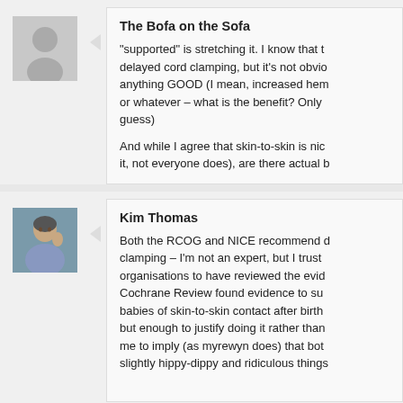The Bofa on the Sofa
“supported” is stretching it. I know that the delayed cord clamping, but it’s not obvious anything GOOD (I mean, increased hem or whatever – what is the benefit? Only guess)

And while I agree that skin-to-skin is nic it, not everyone does), are there actual b
Kim Thomas
Both the RCOG and NICE recommend d clamping – I’m not an expert, but I trust organisations to have reviewed the evid Cochrane Review found evidence to su babies of skin-to-skin contact after birth but enough to justify doing it rather than me to imply (as myrewyn does) that bot slightly hippy-dippy and ridiculous things